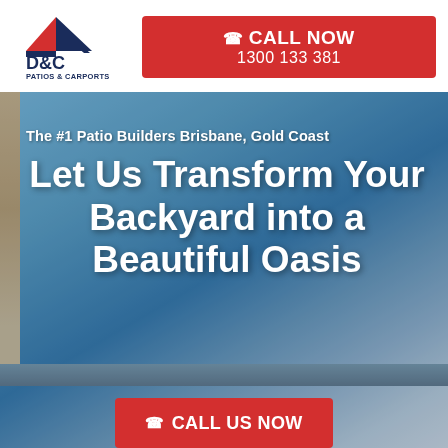[Figure (logo): D&C Patios & Carports logo — house/arrow shape in red and dark navy blue, with text 'D&C' and 'PATIOS & CARPORTS' below]
📞 CALL NOW
1300 133 381
[Figure (photo): Background photo of a patio/carport structure — blue sky and building elements visible]
The #1 Patio Builders Brisbane, Gold Coast
Let Us Transform Your Backyard into a Beautiful Oasis
📞 CALL US NOW